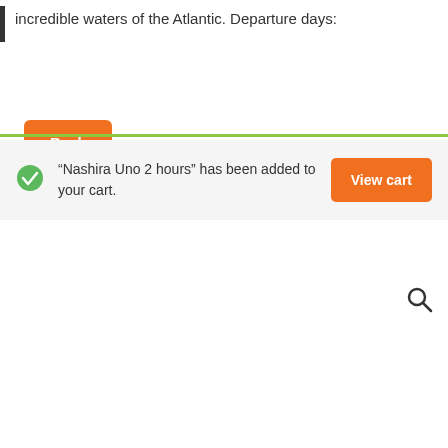incredible waters of the Atlantic. Departure days:
Back to Boat Trips
“Nashira Uno 2 hours” has been added to your cart.
View cart